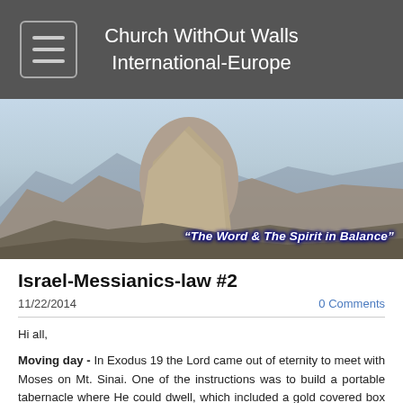Church WithOut Walls International-Europe
[Figure (photo): Panoramic hero image of a mountain landscape, likely Yosemite with Half Dome visible, under a partly cloudy sky. Text overlay reads: "The Word & The Spirit in Balance"]
Israel-Messianics-law #2
11/22/2014
0 Comments
Hi all,
Moving day - In Exodus 19 the Lord came out of eternity to meet with Moses on Mt. Sinai. One of the instructions was to build a portable tabernacle where He could dwell, which included a gold covered box called the Ark of the Covenant which was topped with gold covered figures of 2 cherubs - those multi-winged angels seen only around the throne* - and He would be between their wings and talk to Moses